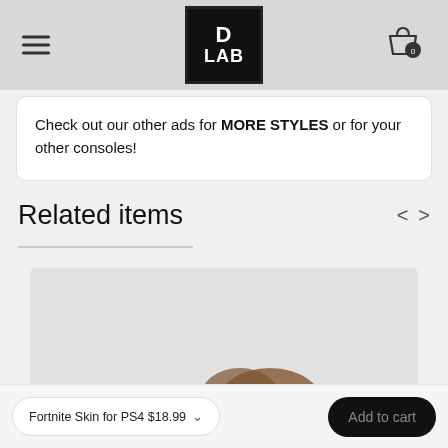[Figure (logo): D LAB logo — white text on black square background]
Check out our other ads for MORE STYLES or for your other consoles!
Related items
[Figure (photo): Partial product image on light grey background, partially cut off at bottom]
Fortnite Skin for PS4 $18.99
Add to cart